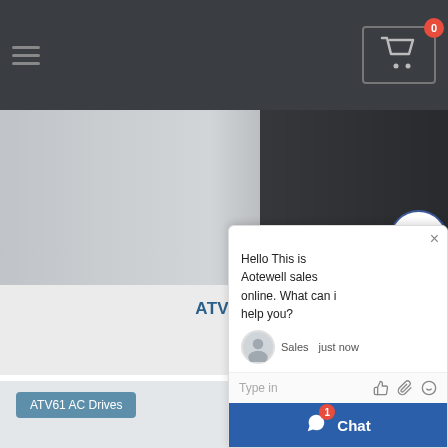Navigation bar with hamburger menu and cart icon showing 0 items
[Figure (photo): Product image showing Schneider ATV61 variable speed drive unit, gray and dark tones]
ATV61HD90Y SCHNEIDER ATV61 VARIABLE SPEED D... 90KW
READ MORE »
ATV61 AC Drives
[Figure (screenshot): Chat widget popup showing message: Hello This is Aotewell sales online. What can i help you? with Sales agent avatar, just now timestamp, type input bar, and Chat button with badge 1]